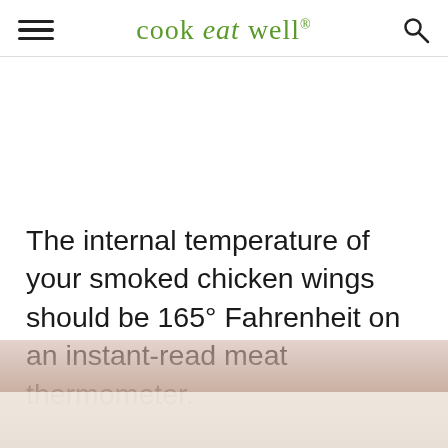cook eat well®
[Figure (photo): Blurred photo of smoked chicken wings on a plate, partially visible at the bottom of the page]
The internal temperature of your smoked chicken wings should be 165° Fahrenheit on an instant-read meat thermometer.